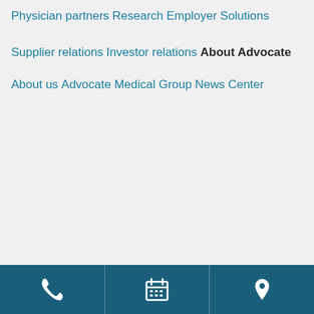Physician partners
Research
Employer Solutions
Supplier relations
Investor relations
About Advocate
About us
Advocate Medical Group
News Center
[Figure (infographic): Bottom navigation bar with three icons on dark blue background: phone icon (left), calendar/grid icon (center), location pin icon (right)]